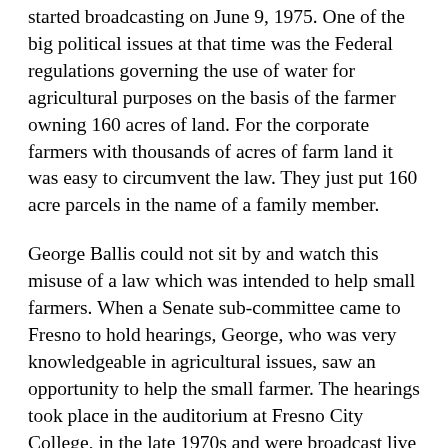started broadcasting on June 9, 1975. One of the big political issues at that time was the Federal regulations governing the use of water for agricultural purposes on the basis of the farmer owning 160 acres of land. For the corporate farmers with thousands of acres of farm land it was easy to circumvent the law. They just put 160 acre parcels in the name of a family member.
George Ballis could not sit by and watch this misuse of a law which was intended to help small farmers. When a Senate sub-committee came to Fresno to hold hearings, George, who was very knowledgeable in agricultural issues, saw an opportunity to help the small farmer. The hearings took place in the auditorium at Fresno City College, in the late 1970s and were broadcast live on KFCF. I could still see George rolling a huge file cabinet filled with folders about the 160 acre legislation onto the stage of the auditorium. It was a sight to see!
George was into a lot of political and social issues; he seemed